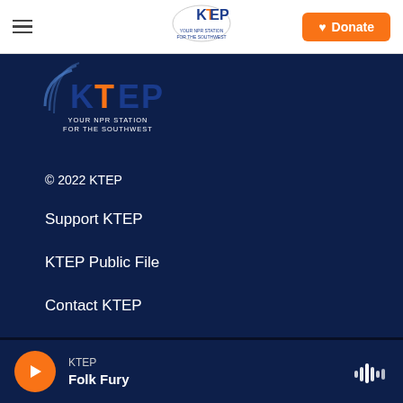Navigation bar with hamburger menu, KTEP logo, and Donate button
[Figure (logo): KTEP radio station logo large version - YOUR NPR STATION FOR THE SOUTHWEST]
© 2022 KTEP
Support KTEP
KTEP Public File
Contact KTEP
Public Reports
KTEP Folk Fury - audio player bar